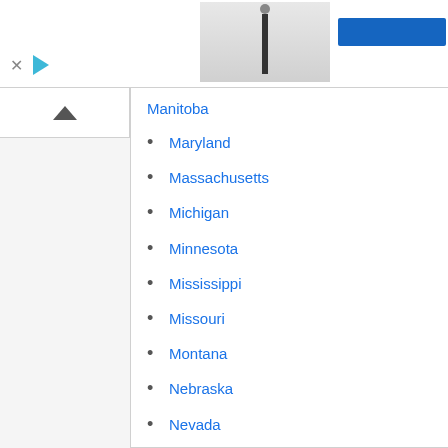[Figure (screenshot): Ad bar with close (x) and play button icons, a product thumbnail image on the right, and a blue button]
Manitoba
Maryland
Massachusetts
Michigan
Minnesota
Mississippi
Missouri
Montana
Nebraska
Nevada
New Brunswick
New Hampshire
New Jersey
New Mexico
New York
Newfoundland and Labrador
North Carolina